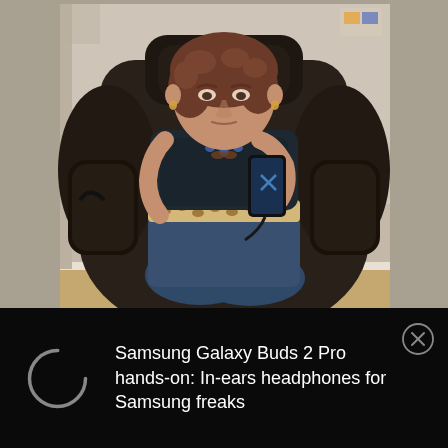[Figure (photo): A woman sitting in a large dark brown massage chair, taking a selfie with a smartphone. She has curly auburn hair, wearing a dark top, leopard print belt, and blue jeans. She has glasses hanging around her neck. The room has a light beige wall and hardwood floor visible in the background.]
Samsung Galaxy Buds 2 Pro hands-on: In-ears headphones for Samsung freaks